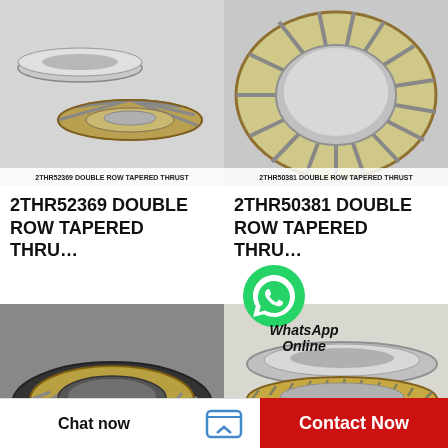[Figure (photo): 2THR52369 Double Row Tapered Thrust Bearing product photo - top view showing gold/brass cage with roller elements and separate flat race disc]
[Figure (photo): 2THR50381 Double Row Tapered Thrust Bearing product photo - top view showing circular bearing with brass/gold cage and roller elements]
2THR52369 DOUBLE ROW TAPERED THRU...
2THR50381 DOUBLE ROW TAPERED THRU...
[Figure (photo): Double row tapered thrust bearing side/perspective view showing black and gold/yellow ring assembly]
[Figure (photo): Double row tapered thrust bearing exploded view showing silver and gold/brass ring components with WhatsApp Online overlay]
[Figure (logo): WhatsApp green phone icon]
WhatsApp Online
Chat now
Contact Now